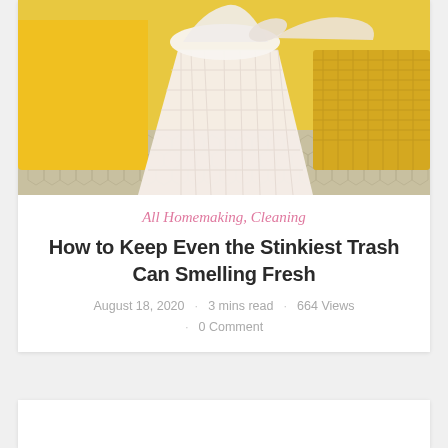[Figure (photo): Photo of a white lattice trash can with a white trash bag inside, in front of a yellow background with yellow storage boxes and hexagonal tile floor]
All Homemaking, Cleaning
How to Keep Even the Stinkiest Trash Can Smelling Fresh
August 18, 2020 · 3 mins read · 664 Views · 0 Comment